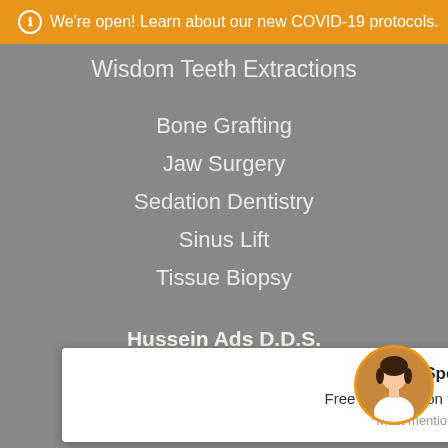ℹ We're open! Learn about our new COVID-19 protocols.
Wisdom Teeth Extractions
Bone Grafting
Jaw Surgery
Sedation Dentistry
Sinus Lift
Tissue Biopsy
Hussein Ads D.D.S.
1-847-786-8000
Special Offer!
Free Consultation for Wisdom Teeth Extraction
*Must mention offer when scheduling.
[Figure (photo): Customer service representative avatar in circular frame]